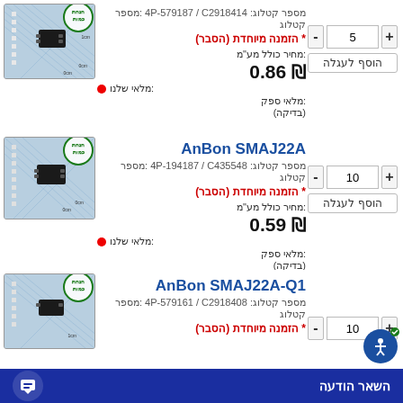מספר קטלוג: 4P-579187 / C2918414
* הזמנה מיוחדת (הסבר)
מחיר כולל מע"מ:
₪ 0.86
מלאי שלנו:
מלאי ספק:
(בדיקה)
[Figure (photo): Electronic component (diode) on blue grid background with quantity discount badge]
AnBon SMAJ22A
מספר קטלוג: 4P-194187 / C435548
* הזמנה מיוחדת (הסבר)
מחיר כולל מע"מ:
₪ 0.59
מלאי שלנו:
מלאי ספק:
(בדיקה)
[Figure (photo): Electronic component (diode) on blue grid background with quantity discount badge]
AnBon SMAJ22A-Q1
מספר קטלוג: 4P-579161 / C2918408
* הזמנה מיוחדת (הסבר)
[Figure (photo): Electronic component on blue grid background with quantity discount badge]
השאר הודעה